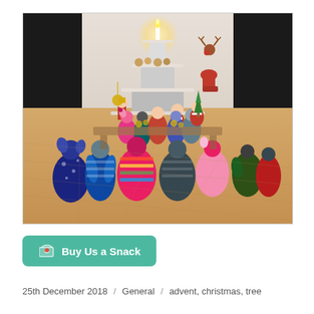[Figure (photo): A group of colorful knitted/stuffed animal figures (mice, penguins, and other creatures in various patterned fabrics) gathered in a room around a tiered cake stand with Christmas decorations including Santa figurines, ornaments, and food. A candle glows at the top. The scene is set on a wooden floor with dark walls on either side.]
Buy Us a Snack
25th December 2018  /  General  /  advent, christmas, tree